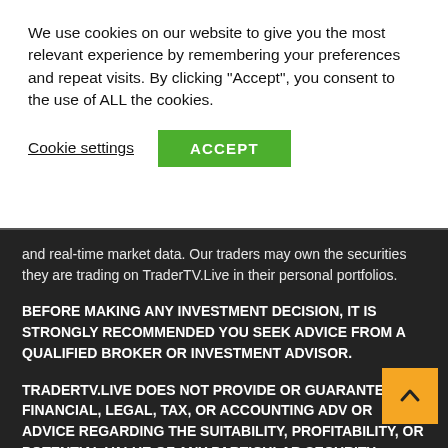We use cookies on our website to give you the most relevant experience by remembering your preferences and repeat visits. By clicking "Accept", you consent to the use of ALL the cookies.
Cookie settings | ACCEPT
and real-time market data. Our traders may own the securities they are trading on TraderTV.Live in their personal portfolios.
BEFORE MAKING ANY INVESTMENT DECISION, IT IS STRONGLY RECOMMENDED YOU SEEK ADVICE FROM A QUALIFIED BROKER OR INVESTMENT ADVISOR.
TRADERTV.LIVE DOES NOT PROVIDE OR GUARANTEE ANY FINANCIAL, LEGAL, TAX, OR ACCOUNTING ADV OR ADVICE REGARDING THE SUITABILITY, PROFITABILITY, OR POTENTIAL VALUE OF ANY PARTICULAR SECURITY, TRADING STRATEGY, OR